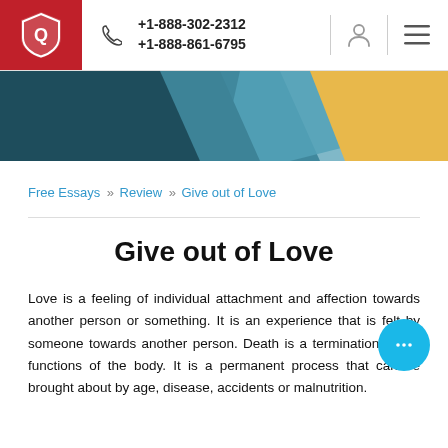+1-888-302-2312  +1-888-861-6795
[Figure (illustration): Decorative diagonal banner with dark teal, light blue, and golden yellow geometric sections]
Free Essays » Review » Give out of Love
Give out of Love
Love is a feeling of individual attachment and affection towards another person or something. It is an experience that is felt by someone towards another person. Death is a termination of the functions of the body. It is a permanent process that can be brought about by age, disease, accidents or malnutrition.